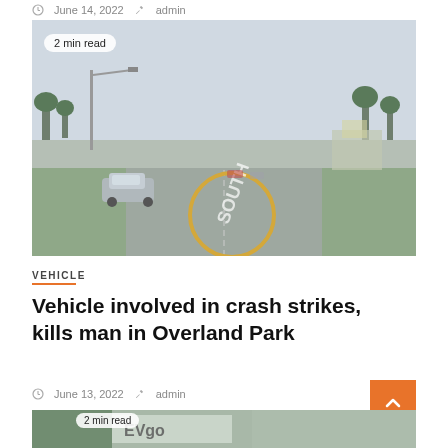June 14, 2022  admin
[Figure (photo): Street-level view of a road intersection with cars and a highlighted circle marking a road painted word, overcast sky with trees and commercial buildings in the background. Badge reads '2 min read'.]
VEHICLE
Vehicle involved in crash strikes, kills man in Overland Park
June 13, 2022  admin
[Figure (photo): Partial view of the next article image, appears to show an EV charging station or related signage with '2 min read' badge.]